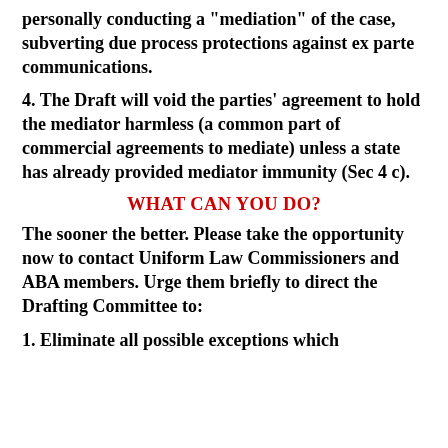personally conducting a "mediation" of the case, subverting due process protections against ex parte communications.
4. The Draft will void the parties' agreement to hold the mediator harmless (a common part of commercial agreements to mediate) unless a state has already provided mediator immunity (Sec 4 c).
WHAT CAN YOU DO?
The sooner the better. Please take the opportunity now to contact Uniform Law Commissioners and ABA members. Urge them briefly to direct the Drafting Committee to:
1. Eliminate all possible exceptions which